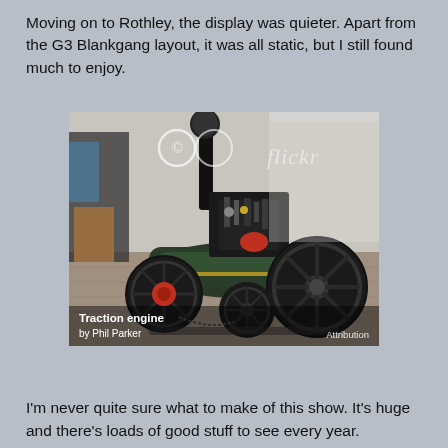Moving on to Rothley, the display was quieter. Apart from the G3 Blankgang layout, it was all static, but I still found much to enjoy.
[Figure (photo): A miniature model traction engine displayed on a concrete/stone floor indoors. The engine is black and dark green with large spoked wheels, a tall chimney stack, and intricate mechanical details. A flickr watermark and Creative Commons icon appear on the photo.]
Traction engine by Phil Parker  Attribution
I'm never quite sure what to make of this show. It's huge and there's loads of good stuff to see every year.